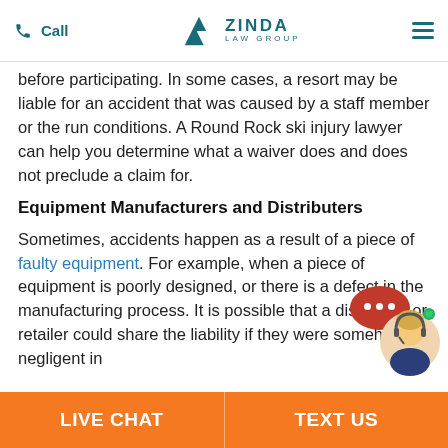Call | Zinda Law Group | Menu
before participating. In some cases, a resort may be liable for an accident that was caused by a staff member or the run conditions. A Round Rock ski injury lawyer can help you determine what a waiver does and does not preclude a claim for.
Equipment Manufacturers and Distributers
Sometimes, accidents happen as a result of a piece of faulty equipment. For example, when a piece of equipment is poorly designed, or there is a defect in the manufacturing process. It is possible that a distributor or retailer could share the liability if they were somehow negligent in
[Figure (other): Live chat widget with headset-wearing customer service representative photo and chat bubble icon with green online indicator]
LIVE CHAT | TEXT US